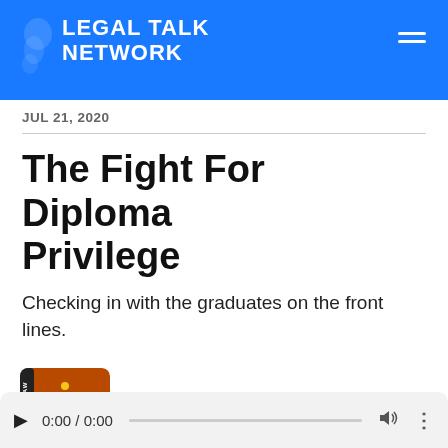LEGAL TALK NETWORK
JUL 21, 2020
The Fight For Diploma Privilege
Checking in with the graduates on the front lines.
[Figure (logo): Podcast thumbnail for Above the Law - Thinking Like a Lawyer, brown/orange background with white text]
Podcast
Above the Law - Thinking Like a Lawyer
0:00 / 0:00